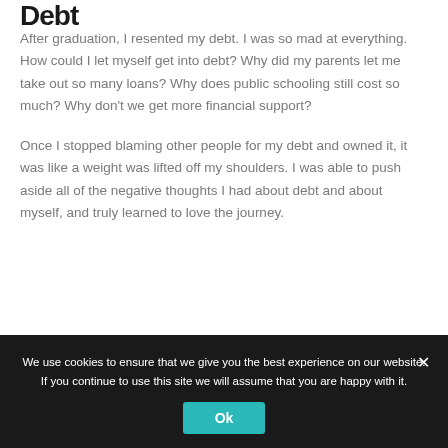Debt
After graduation, I resented my debt. I was so mad at everything. How could I let myself get into debt? Why did my parents let me take out so many loans? Why does public schooling still cost so much? Why don't we get more financial support?
Once I stopped blaming other people for my debt and owned it, it was like a weight was lifted off my shoulders. I was able to push aside all of the negative thoughts I had about debt and about myself, and truly learned to love the journey.
We use cookies to ensure that we give you the best experience on our website. If you continue to use this site we will assume that you are happy with it.